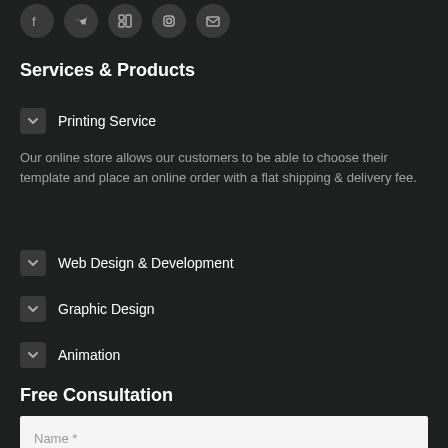[Figure (other): Social media icons row: Facebook, Twitter, LinkedIn, Instagram, Email/envelope icons in circular dark buttons]
Services & Products
Printing Service
Our online store allows our customers to be able to choose their template and place an online order with a flat shipping & delivery fee.
Web Design & Development
Graphic Design
Animation
Free Consultation
Name *
E-mail *